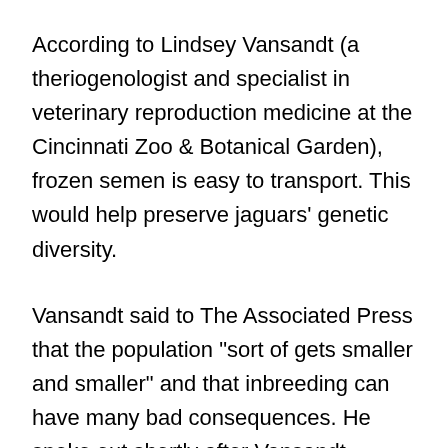According to Lindsey Vansandt (a theriogenologist and specialist in veterinary reproduction medicine at the Cincinnati Zoo & Botanical Garden), frozen semen is easy to transport. This would help preserve jaguars' genetic diversity.
Vansandt said to The Associated Press that the population "sort of gets smaller and smaller" and that inbreeding can have many bad consequences. He spoke out shortly after Vansandt performed the surgery on Bianca, who was unconscious while he was sitting on a surgical table.
Vansandt stated, "If we can take the sperm of one male and insominate another female, we can keep